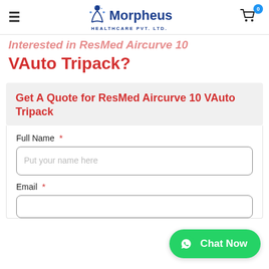Morpheus Healthcare Pvt. Ltd.
Interested in ResMed Aircurve 10 VAuto Tripack?
Get A Quote for ResMed Aircurve 10 VAuto Tripack
Full Name *
Put your name here
Email *